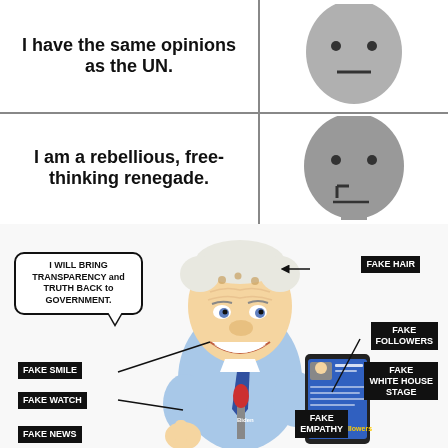[Figure (illustration): NPC meme comic strip. Top panel split into two rows. First row: text 'I have the same opinions as the UN.' on left, blank-faced NPC character on right. Second row: text 'I am a rebellious, free-thinking renegade.' on left, same blank-faced NPC character on right. Vertical and horizontal dividing lines separate panels.]
[Figure (illustration): Political cartoon of an elderly politician (caricature suggesting Joe Biden) giving thumbs up, holding a phone showing a social media profile, speaking into microphones. Speech bubble says 'I WILL BRING TRANSPARENCY and TRUTH BACK to GOVERNMENT.' Labels with black backgrounds point to various features: FAKE HAIR (top right), FAKE FOLLOWERS (right), FAKE WHITE HOUSE STAGE (right), FAKE SMILE (left), FAKE WATCH (left), FAKE NEWS (bottom left), FAKE EMPATHY (bottom center-right).]